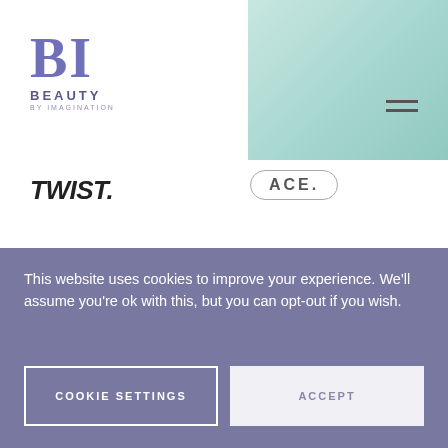[Figure (logo): Beauty by Imagination logo with stylized BI letters in purple/lavender, with 'BEAUTY' and 'BY IMAGINATION' text below]
[Figure (logo): TWIST italic logo in top nav]
[Figure (logo): ACE badge/logo in rounded rectangle border]
[Figure (logo): TWIST BY OUIDAD logo centered on lavender background]
Love the way my curls look and feel now. I am more
This website uses cookies to improve your experience. We'll assume you're ok with this, but you can opt-out if you wish.
COOKIE SETTINGS
ACCEPT